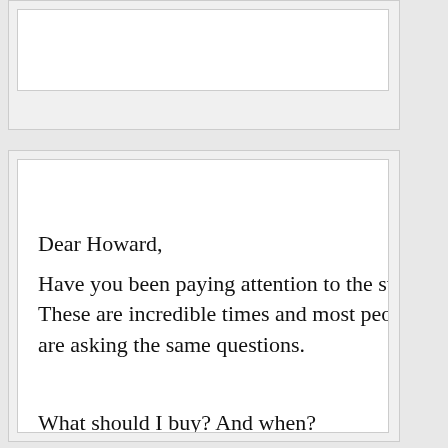Dear Howard,
Have you been paying attention to the stock mar... These are incredible times and most people who are asking the same questions.
What should I buy? And when?
Others are simply frozen – paralyzed by emotion... out’ approach to the volatile market. Here is a bet...